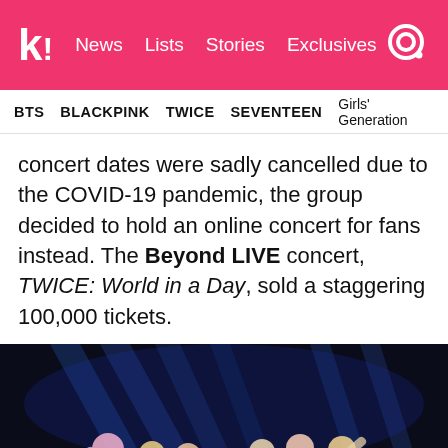koreaboo — News  Lists  Stories  Exclusives
BTS  BLACKPINK  TWICE  SEVENTEEN  Girls' Generation
concert dates were sadly cancelled due to the COVID-19 pandemic, the group decided to hold an online concert for fans instead. The Beyond LIVE concert, TWICE: World in a Day, sold a staggering 100,000 tickets.
[Figure (photo): TWICE K-pop group performing on stage with blue stage lighting, wearing colorful pastel tie-dye outfits]